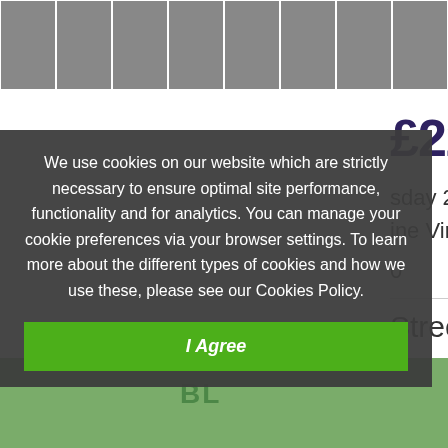[Figure (photo): Strip of 8 property thumbnail photos showing exterior and interior rooms]
£220,000
Thursday 26th May 2022
Online Virtual Auction, remote
0
Street, Plymouth
We use cookies on our website which are strictly necessary to ensure optimal site performance, functionality and for analytics. You can manage your cookie preferences via your browser settings. To learn more about the different types of cookies and how we use these, please see our Cookies Policy.
I Agree
[Figure (map): Green map area at bottom of page]